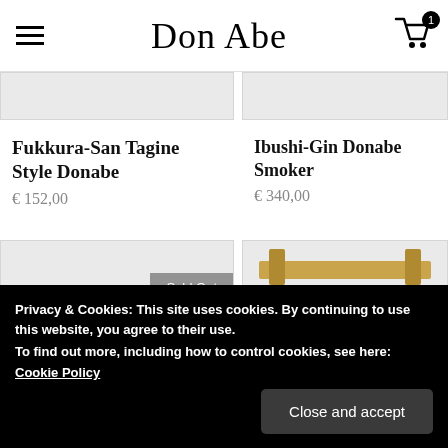Don Abe
Fukkura-San Tagine Style Donabe
€ 152,00
Ibushi-Gin Donabe Smoker
€ 340,00
[Figure (photo): Product image partially visible - Fukkura-San Tagine Style Donabe (bottom row, with Sold Out badge)]
[Figure (photo): Product image partially visible - right side item with bamboo/wooden top detail]
Privacy & Cookies: This site uses cookies. By continuing to use this website, you agree to their use.
To find out more, including how to control cookies, see here:
Cookie Policy
Close and accept